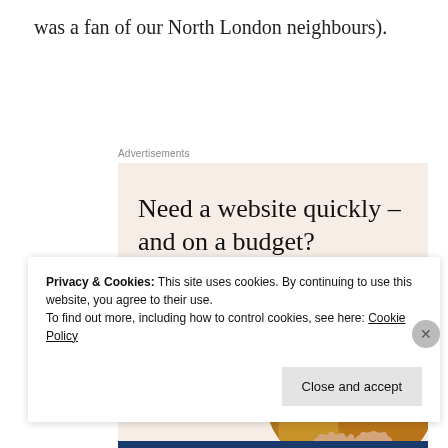was a fan of our North London neighbours).
Advertisements
[Figure (infographic): Advertisement banner with beige background. Headline: 'Need a website quickly – and on a budget?' Subtext: 'Let us build it for you'. Button: 'Let's get started'. Circular photo of person's hands typing on a laptop.]
Privacy & Cookies: This site uses cookies. By continuing to use this website, you agree to their use.
To find out more, including how to control cookies, see here: Cookie Policy
Close and accept